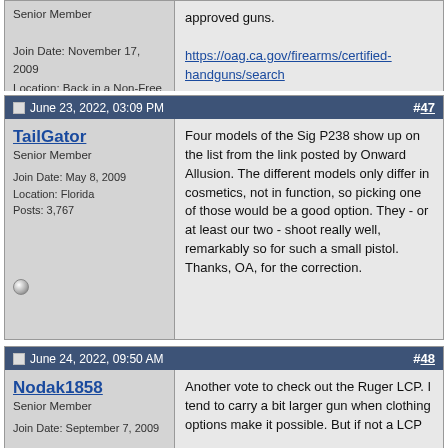Senior Member
Join Date: November 17, 2009
Location: Back in a Non-Free State
Posts: 3,131
approved guns.
https://oag.ca.gov/firearms/certified-handguns/search
Simple as ABC . . . Always Be Carrying
June 23, 2022, 03:09 PM  #47
TailGator
Senior Member
Join Date: May 8, 2009
Location: Florida
Posts: 3,767
Four models of the Sig P238 show up on the list from the link posted by Onward Allusion. The different models only differ in cosmetics, not in function, so picking one of those would be a good option. They - or at least our two - shoot really well, remarkably so for such a small pistol. Thanks, OA, for the correction.
June 24, 2022, 09:50 AM  #48
Nodak1858
Senior Member
Join Date: September 7, 2009
Another vote to check out the Ruger LCP. I tend to carry a bit larger gun when clothing options make it possible. But if not a LCP